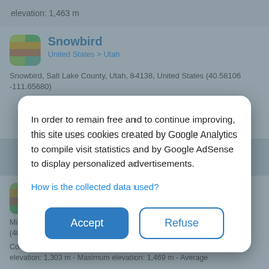elevation: 1,463 m
Snowbird
United States > Utah
Snowbird, Salt Lake County, Utah, 84138, United States (40.58106 -111.65680)
In order to remain free and to continue improving, this site uses cookies created by Google Analytics to compile visit statistics and by Google AdSense to display personalized advertisements.
How is the collected data used?
Accept
Refuse
Midvalley
United States > Utah > Salt Lake County > Midvale
Midvalley, Midvale, Salt Lake County, Utah, 84047, United States (40.61245 -111.88771)
Coordinates: 40.60245 -111.89771 40.62245 -111.87771 - Minimum elevation: 1,303 m - Maximum elevation: 1,469 m - Average